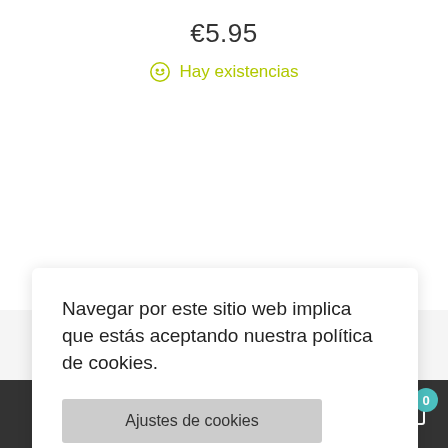€5.95
😊 Hay existencias
Navegar por este sitio web implica que estás aceptando nuestra política de cookies.
Ajustes de cookies
Aceptarlas todas